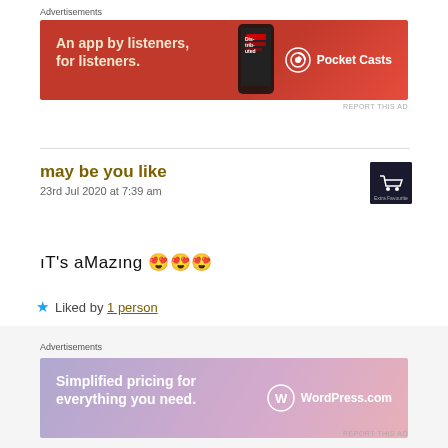Advertisements
[Figure (screenshot): Red Pocket Casts advertisement banner: 'An app by listeners, for listeners.' with Pocket Casts logo and a phone image]
REPORT THIS AD
may be you like
23rd Jul 2020 at 7:39 am
[Figure (screenshot): Dark avatar/user icon with shopping cart]
ıT's aMazıng 😍😍😍
★ Liked by 1 person
Reply
Advertisements
[Figure (screenshot): WordPress.com advertisement banner: 'Simplified pricing for everything you need.' with WordPress.com logo on gradient purple-pink background]